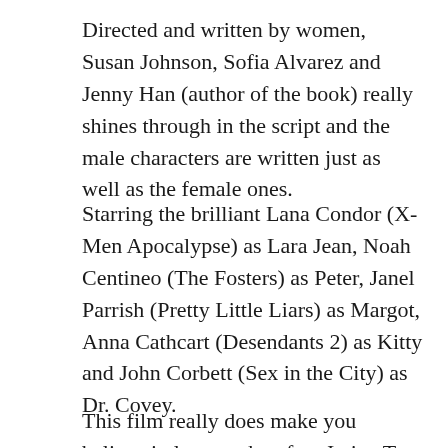Directed and written by women, Susan Johnson, Sofia Alvarez and Jenny Han (author of the book) really shines through in the script and the male characters are written just as well as the female ones.
Starring the brilliant Lana Condor (X-Men Apocalypse) as Lara Jean, Noah Centineo (The Fosters) as Peter, Janel Parrish (Pretty Little Liars) as Margot, Anna Cathcart (Desendants 2) as Kitty and John Corbett (Sex in the City) as Dr. Covey.
This film really does make you believe in love so therefore I give To All the Boys I've Loved